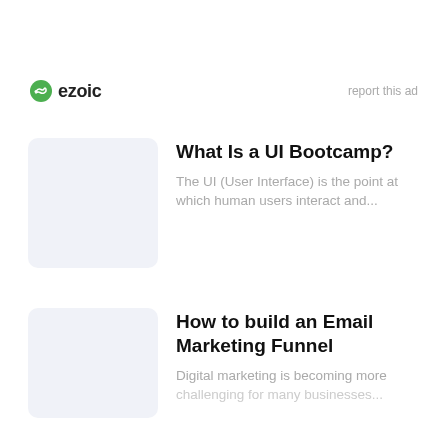[Figure (logo): Ezoic logo with green circular icon and bold 'ezoic' text, with 'report this ad' text on the right]
What Is a UI Bootcamp?
The UI (User Interface) is the point at which human users interact and...
How to build an Email Marketing Funnel
Digital marketing is becoming more challenging for many businesses...